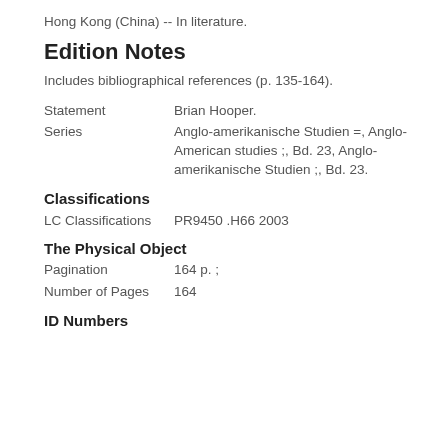Hong Kong (China) -- In literature.
Edition Notes
Includes bibliographical references (p. 135-164).
Statement	Brian Hooper.
Series	Anglo-amerikanische Studien =, Anglo-American studies ;, Bd. 23, Anglo-amerikanische Studien ;, Bd. 23.
Classifications
LC Classifications	PR9450 .H66 2003
The Physical Object
Pagination	164 p. ;
Number of Pages	164
ID Numbers